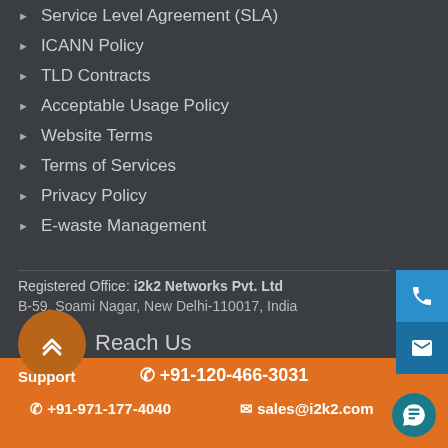Service Level Agreement (SLA)
ICANN Policy
TLD Contracts
Acceptable Usage Policy
Website Terms
Terms of Services
Privacy Policy
E-waste Management
Registered Office: i2k2 Networks Pvt. Ltd
B-59, Soami Nagar, New Delhi-110017, India
Reach Us
Support
+91-120-466-3031
+91-971-177-4040
sales@i2k2.com